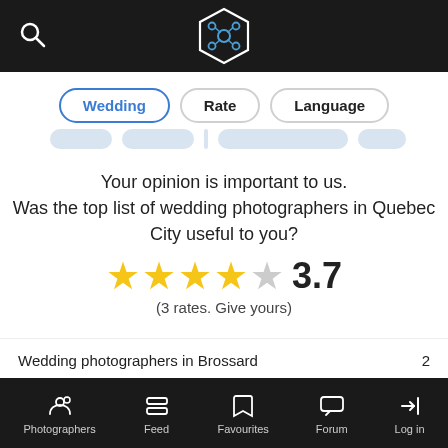App navigation top bar with search icon and logo
Wedding  Rate  Language
Your opinion is important to us. Was the top list of wedding photographers in Quebec City useful to you? 3.7 (3 rates. Give yours)
Wedding photographers in Brossard  2
Wedding photographers in Candiac  1
Photographers  Feed  Favourites  Forum  Log in